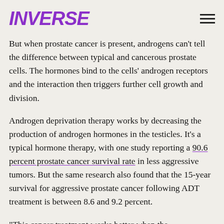INVERSE
But when prostate cancer is present, androgens can't tell the difference between typical and cancerous prostate cells. The hormones bind to the cells' androgen receptors and the interaction then triggers further cell growth and division.
Androgen deprivation therapy works by decreasing the production of androgen hormones in the testicles. It's a typical hormone therapy, with one study reporting a 90.6 percent prostate cancer survival rate in less aggressive tumors. But the same research also found that the 15-year survival for aggressive prostate cancer following ADT treatment is between 8.6 and 9.2 percent.
“This cancer treatment works better when the